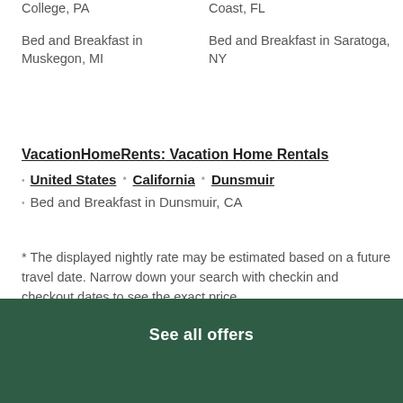College, PA
Coast, FL
Bed and Breakfast in Muskegon, MI
Bed and Breakfast in Saratoga, NY
VacationHomeRents: Vacation Home Rentals
• United States • California • Dunsmuir
• Bed and Breakfast in Dunsmuir, CA
* The displayed nightly rate may be estimated based on a future travel date. Narrow down your search with checkin and checkout dates to see the exact price.
See all offers